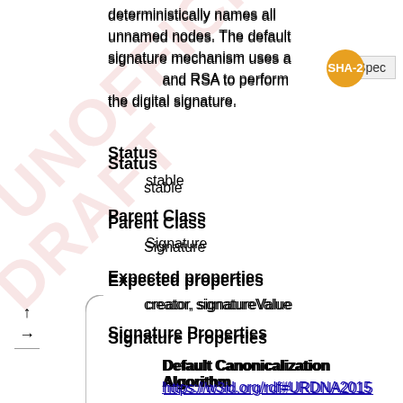deterministically names all unnamed nodes. The default signature mechanism uses a SHA-256 and RSA to perform the digital signature.
Status
stable
Parent Class
Signature
Expected properties
creator, signatureValue
Signature Properties
Default Canonicalization Algorithm
https://w3id.org/rdf#URDNA2015
Default Signature Algorithm
http://www.w3.org/2000/09/xmldsig#rsa-sha256
The example below shows how a basic JSON-LD signature is expressed in a JSON-LD snippet. Note